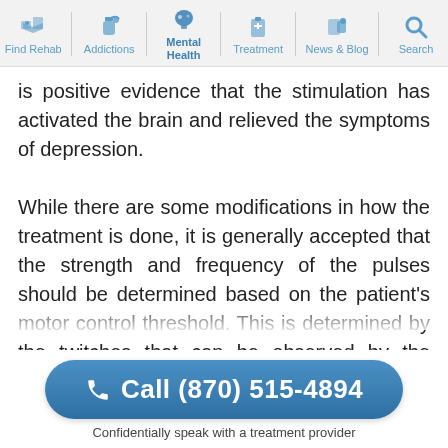Find Rehab | Addictions | Mental Health | Treatment | News & Blog | Search
is positive evidence that the stimulation has activated the brain and relieved the symptoms of depression.

While there are some modifications in how the treatment is done, it is generally accepted that the strength and frequency of the pulses should be determined based on the patient's motor control threshold. This is determined by the twitches that can be observed by the doctor performing the therapy. Since the procedure is noninvasive and done without sedation, a person can drive themselves home after...
Call (870) 515-4894
Confidentially speak with a treatment provider